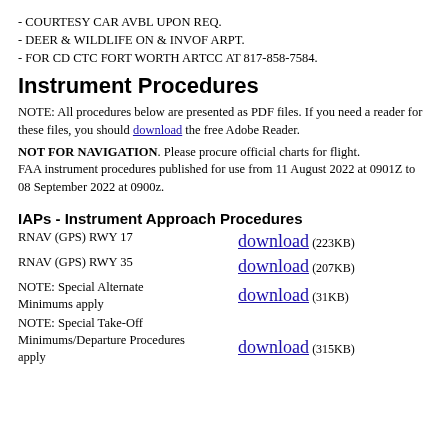- COURTESY CAR AVBL UPON REQ.
- DEER & WILDLIFE ON & INVOF ARPT.
- FOR CD CTC FORT WORTH ARTCC AT 817-858-7584.
Instrument Procedures
NOTE: All procedures below are presented as PDF files. If you need a reader for these files, you should download the free Adobe Reader.
NOT FOR NAVIGATION. Please procure official charts for flight.
FAA instrument procedures published for use from 11 August 2022 at 0901Z to 08 September 2022 at 0900z.
IAPs - Instrument Approach Procedures
RNAV (GPS) RWY 17   download (223KB)
RNAV (GPS) RWY 35   download (207KB)
NOTE: Special Alternate Minimums apply   download (31KB)
NOTE: Special Take-Off Minimums/Departure Procedures apply   download (315KB)